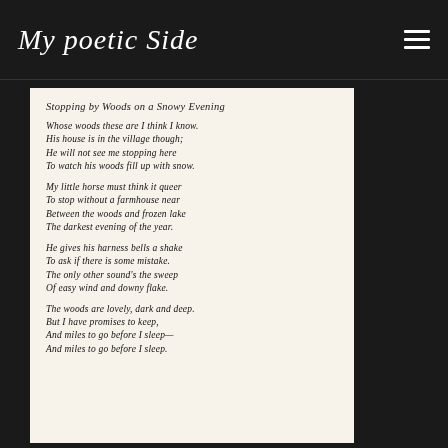My poetic Side
[Figure (photo): A handwritten copy of Robert Frost's poem 'Stopping by Woods on a Snowy Evening' on aged paper, written in cursive script. The full poem is visible including all four stanzas.]